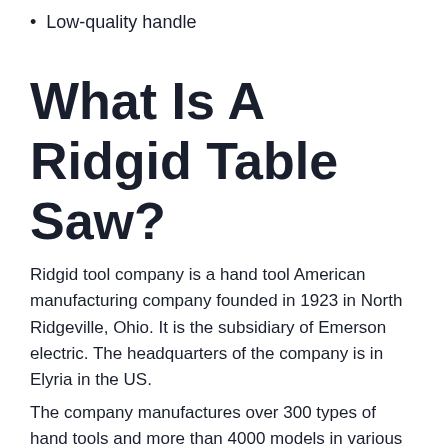Low-quality handle
What Is A Ridgid Table Saw?
Ridgid tool company is a hand tool American manufacturing company founded in 1923 in North Ridgeville, Ohio. It is the subsidiary of Emerson electric. The headquarters of the company is in Elyria in the US.
The company manufactures over 300 types of hand tools and more than 4000 models in various